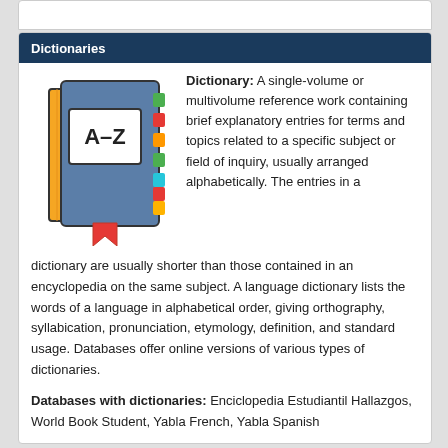Dictionaries
[Figure (illustration): Illustration of a dictionary book with A-Z label on the cover, colorful tab markers on the side (green, red, orange, green, teal, red, orange), and a red bookmark ribbon at the bottom. The book has a blue-gray cover and an orange spine.]
Dictionary: A single-volume or multivolume reference work containing brief explanatory entries for terms and topics related to a specific subject or field of inquiry, usually arranged alphabetically. The entries in a dictionary are usually shorter than those contained in an encyclopedia on the same subject. A language dictionary lists the words of a language in alphabetical order, giving orthography, syllabication, pronunciation, etymology, definition, and standard usage. Databases offer online versions of various types of dictionaries.
Databases with dictionaries: Enciclopedia Estudiantil Hallazgos, World Book Student, Yabla French, Yabla Spanish